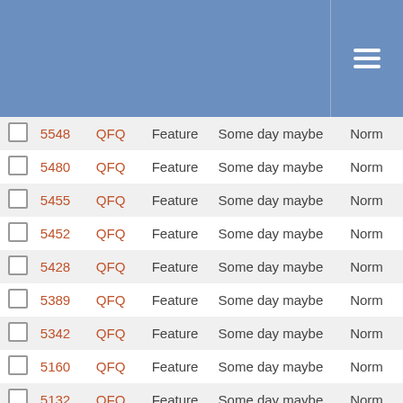|  | ID | Project | Type | Milestone | Priority |
| --- | --- | --- | --- | --- | --- |
| ☐ | 5548 | QFQ | Feature | Some day maybe | Norm |
| ☐ | 5480 | QFQ | Feature | Some day maybe | Norm |
| ☐ | 5455 | QFQ | Feature | Some day maybe | Norm |
| ☐ | 5452 | QFQ | Feature | Some day maybe | Norm |
| ☐ | 5428 | QFQ | Feature | Some day maybe | Norm |
| ☐ | 5389 | QFQ | Feature | Some day maybe | Norm |
| ☐ | 5342 | QFQ | Feature | Some day maybe | Norm |
| ☐ | 5160 | QFQ | Feature | Some day maybe | Norm |
| ☐ | 5132 | QFQ | Feature | Some day maybe | Norm |
| ☐ | 5129 | QFQ | Feature | Some day maybe | Norm |